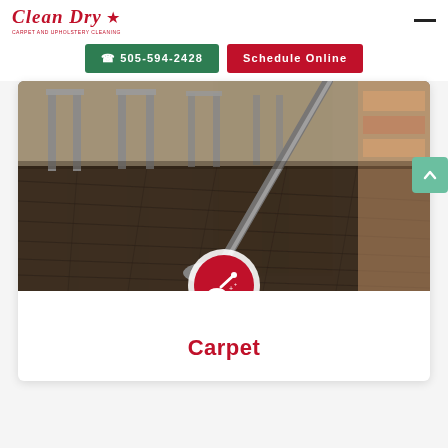Clean Dry — Carpet and Upholstery Cleaning
☎ 505-594-2428
Schedule Online
[Figure (photo): Carpet cleaning vacuum wand being used on dark commercial carpet tiles in a room with metal-framed tables and bookshelves in the background]
Carpet